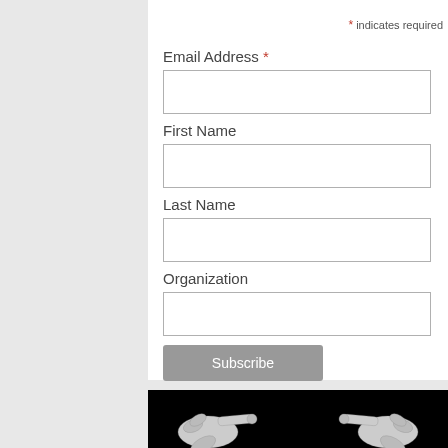* indicates required
Email Address *
First Name
Last Name
Organization
Subscribe
[Figure (illustration): Black and white illustration of two pointing hands (index fingers extended) facing each other on a black background, positioned at bottom of page]